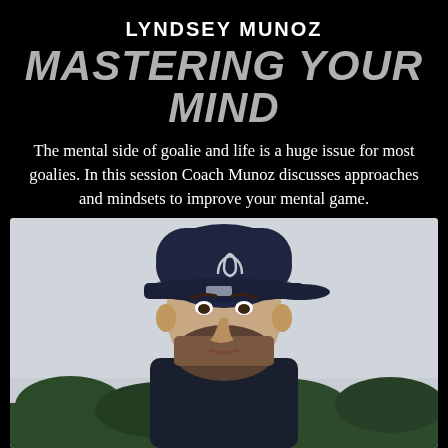LYNDSEY MUNOZ
MASTERING YOUR MIND
The mental side of goalie and life is a huge issue for most goalies. In this session Coach Munoz discusses approaches and mindsets to improve your mental game.
[Figure (photo): Portrait photo of Coach Lyndsey Munoz wearing a dark navy Under Armour baseball cap and having a beard, photographed outdoors with trees and overcast sky in background.]